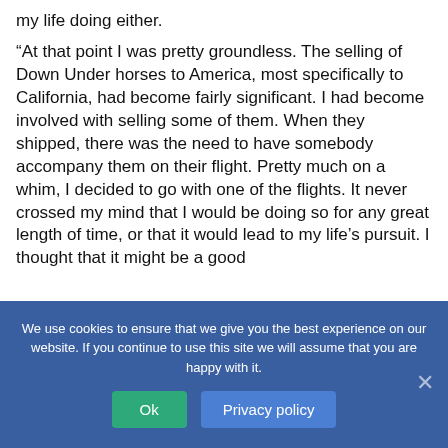my life doing either.
“At that point I was pretty groundless. The selling of Down Under horses to America, most specifically to California, had become fairly significant. I had become involved with selling some of them. When they shipped, there was the need to have somebody accompany them on their flight. Pretty much on a whim, I decided to go with one of the flights. It never crossed my mind that I would be doing so for any great length of time, or that it would lead to my life’s pursuit. I thought that it might be a good
We use cookies to ensure that we give you the best experience on our website. If you continue to use this site we will assume that you are happy with it.
Ok
Privacy policy